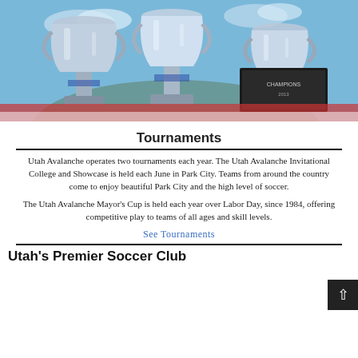[Figure (photo): Multiple silver championship trophies displayed outdoors with blue sky background. A sign reading 'CHAMPIONS' is visible among the trophies.]
Tournaments
Utah Avalanche operates two tournaments each year. The Utah Avalanche Invitational College and Showcase is held each June in Park City. Teams from around the country come to enjoy beautiful Park City and the high level of soccer.
The Utah Avalanche Mayor's Cup is held each year over Labor Day, since 1984, offering competitive play to teams of all ages and skill levels.
See Tournaments
Utah's Premier Soccer Club